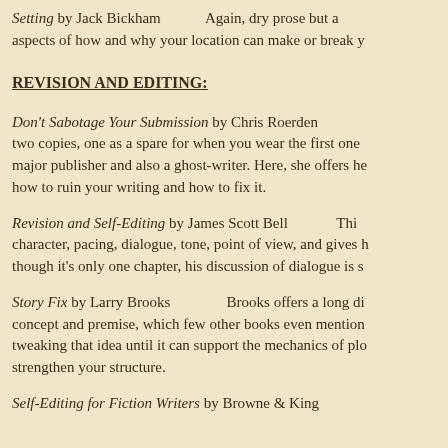Setting by Jack Bickham   Again, dry prose but a aspects of how and why your location can make or break y
REVISION AND EDITING:
Don't Sabotage Your Submission by Chris Roerden   two copies, one as a spare for when you wear the first one major publisher and also a ghost-writer. Here, she offers he how to ruin your writing and how to fix it.
Revision and Self-Editing by James Scott Bell   Thi character, pacing, dialogue, tone, point of view, and gives h though it's only one chapter, his discussion of dialogue is s
Story Fix by Larry Brooks   Brooks offers a long di concept and premise, which few other books even mention tweaking that idea until it can support the mechanics of plo strengthen your structure.
Self-Editing for Fiction Writers by Browne & King